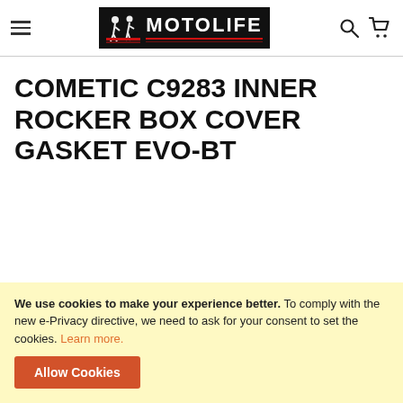MOTOLIFE (navigation header with hamburger menu, logo, search and cart icons)
COMETIC C9283 INNER ROCKER BOX COVER GASKET EVO-BT
We use cookies to make your experience better. To comply with the new e-Privacy directive, we need to ask for your consent to set the cookies. Learn more.
Allow Cookies